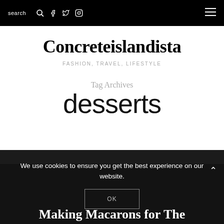search [search icon] [facebook icon] [twitter icon] [instagram icon] [hamburger menu]
Concreteislandista
FASHION, TRAVEL, LIFESTYLE
Tag Archives
desserts
We use cookies to ensure you get the best experience on our website.
OK
Making Macarons for The